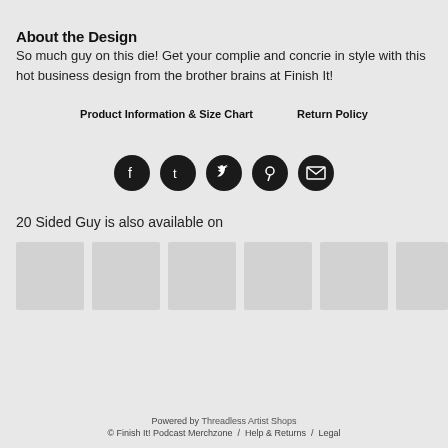About the Design
So much guy on this die! Get your complie and concrie in style with this hot business design from the brother brains at Finish It!
Product Information & Size Chart    Return Policy
[Figure (infographic): Row of 5 social media share icons (Facebook, Tumblr, Twitter, Pinterest, Email) as dark circular buttons]
20 Sided Guy is also available on
[Figure (infographic): Row of 6 product thumbnail placeholder boxes (light gray squares)]
Powered by Threadless Artist Shops
© Finish It! Podcast Merchzone / Help & Returns / Legal